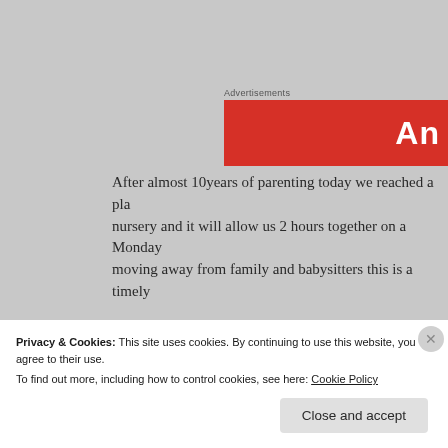Advertisements
[Figure (other): Red advertisement banner with bold white text 'An' visible on the right side]
After almost 10years of parenting today we reached a pla... nursery and it will allow us 2 hours together on a Monday... moving away from family and babysitters this is a timely...
Anchor point 4 daily
Bible reading, prayer, friendship, solitude, a cup of tea wi... are just moments where we remember what's really impo...
Privacy & Cookies: This site uses cookies. By continuing to use this website, you agree to their use.
To find out more, including how to control cookies, see here: Cookie Policy
Close and accept